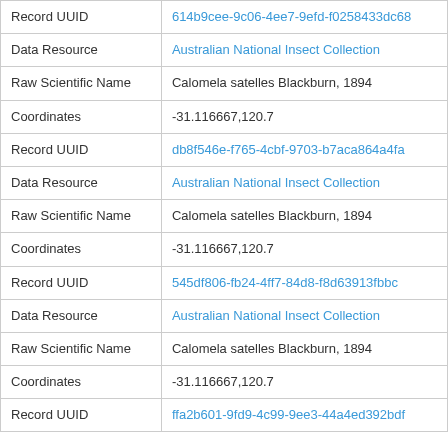| Field | Value |
| --- | --- |
| Record UUID | 614b9cee-9c06-4ee7-9efd-f0258433dc68 (truncated) |
| Data Resource | Australian National Insect Collection |
| Raw Scientific Name | Calomela satelles Blackburn, 1894 |
| Coordinates | -31.116667,120.7 |
| Record UUID | db8f546e-f765-4cbf-9703-b7aca864a4fa |
| Data Resource | Australian National Insect Collection |
| Raw Scientific Name | Calomela satelles Blackburn, 1894 |
| Coordinates | -31.116667,120.7 |
| Record UUID | 545df806-fb24-4ff7-84d8-f8d63913fbbc |
| Data Resource | Australian National Insect Collection |
| Raw Scientific Name | Calomela satelles Blackburn, 1894 |
| Coordinates | -31.116667,120.7 |
| Record UUID | ffa2b601-9fd9-4c99-9ee3-44a4ed392bdf |